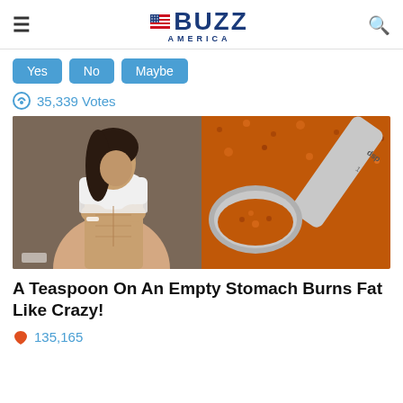BUZZ AMERICA
Yes | No | Maybe
35,339 Votes
[Figure (photo): Split image: left side shows a fit woman in a white sports bra lifting her shirt to show abs; right side shows a measuring spoon filled with orange/red spice powder]
A Teaspoon On An Empty Stomach Burns Fat Like Crazy!
135,165